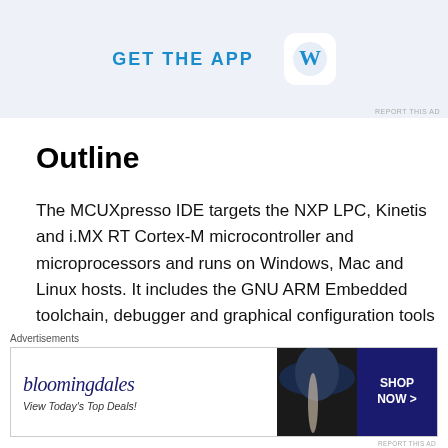[Figure (other): Advertisement banner at top showing GET THE APP text with WordPress icon on light blue background]
Outline
The MCUXpresso IDE targets the NXP LPC, Kinetis and i.MX RT Cortex-M microcontroller and microprocessors and runs on Windows, Mac and Linux hosts. It includes the GNU ARM Embedded toolchain, debugger and graphical configuration tools (MCUXpresso Config Tools) for pin muxing, clocks and peripheral driver configuration. Support for specific devices and families are provided
[Figure (other): Bloomingdale's advertisement banner at bottom: View Today's Top Deals! with SHOP NOW button]